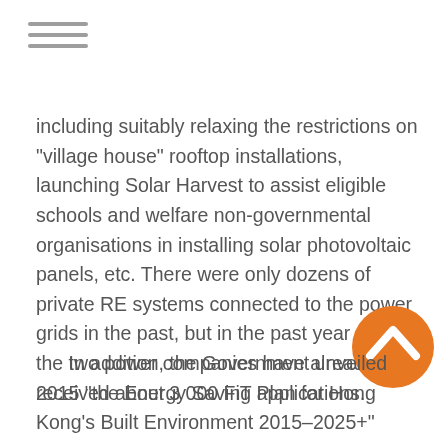≡
including suitably relaxing the restrictions on "village house" rooftop installations, launching Solar Harvest to assist eligible schools and welfare non-governmental organisations in installing solar photovoltaic panels, etc. There were only dozens of private RE systems connected to the power grids in the past, but in the past year alone, the two power companies have already received about 3 000 FiT applications.
In addition, the Government unveiled 2015 "the Energy Saving Plan for Hong Kong's Built Environment 2015–2025+"
[Figure (logo): Orange circular logo with white chevron/caret symbol pointing upward]